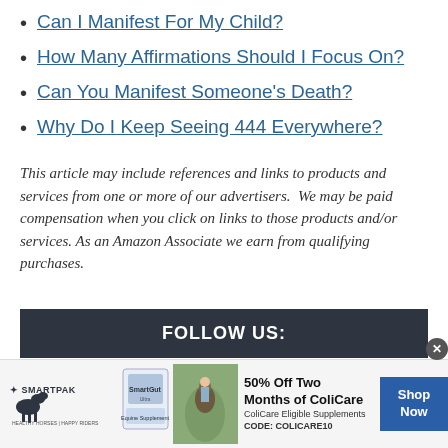Can I Manifest For My Child?
How Many Affirmations Should I Focus On?
Can You Manifest Someone's Death?
Why Do I Keep Seeing 444 Everywhere?
This article may include references and links to products and services from one or more of our advertisers.  We may be paid compensation when you click on links to those products and/or services. As an Amazon Associate we earn from qualifying purchases.
FOLLOW US:
[Figure (infographic): SmartPak advertisement banner showing logo with horse icon, product image, horse and rider photo, text '50% Off Two Months of ColiCare, ColiCare Eligible Supplements, CODE: COLICARE10', and a blue 'Shop Now' button]